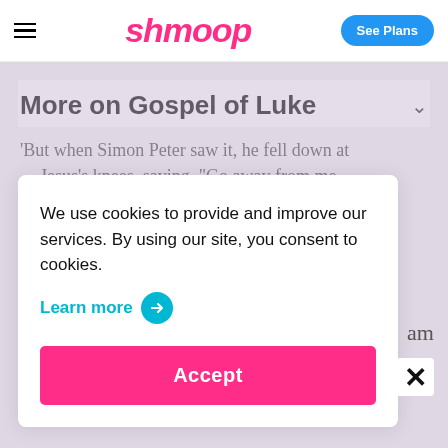shmoop | See Plans
More on Gospel of Luke
'But when Simon Peter saw it, he fell down at Jesus's knees, saying, "Go away from me
We use cookies to provide and improve our services. By using our site, you consent to cookies.
Learn more →
Accept